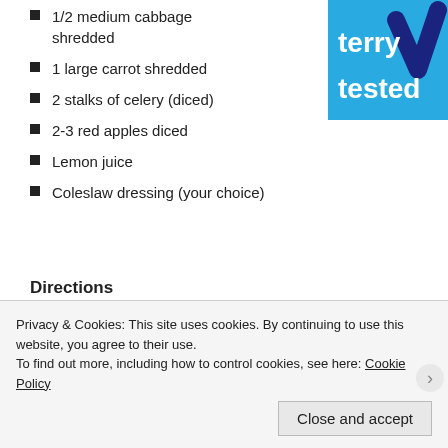[Figure (logo): Terry Tested logo — blue square with white text 'terry tested' and a dark blue checkmark]
1/2 medium cabbage shredded
1 large carrot shredded
2 stalks of celery (diced)
2-3 red apples diced
Lemon juice
Coleslaw dressing (your choice)
Directions
Put apples in a large bowl and pour a little apple juice over them to avoid them turning brown
Put in cabbage, carrot, celery
Pour in coleslaw dressing and mix until creamy but
Privacy & Cookies: This site uses cookies. By continuing to use this website, you agree to their use.
To find out more, including how to control cookies, see here: Cookie Policy
Close and accept